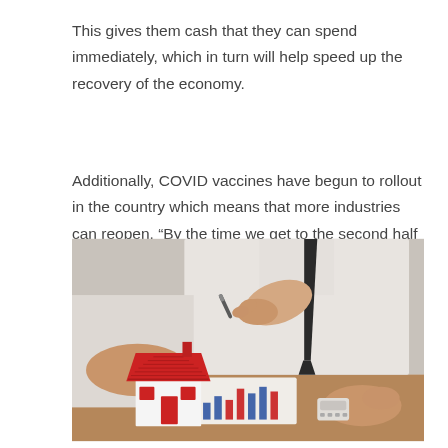This gives them cash that they can spend immediately, which in turn will help speed up the recovery of the economy.
Additionally, COVID vaccines have begun to rollout in the country which means that more industries can reopen. “By the time we get to the second half of next year, COVID shouldn’t be an issue for the domestic economy,” Aird says.
[Figure (photo): A person in a white shirt and dark tie holding a pen above a small model house with a red roof on a desk, with another person's hands visible across the table and papers with charts in the background.]